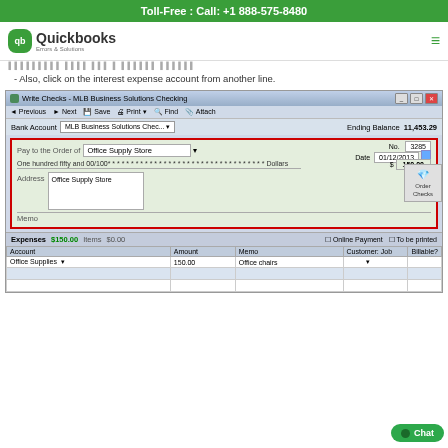Toll-Free : Call: +1 888-575-8480
[Figure (screenshot): QuickBooks Errors & Solutions website logo and navigation bar]
- Also, click on the interest expense account from another line.
[Figure (screenshot): QuickBooks Write Checks - MLB Business Solutions Checking window showing a check to Office Supply Store for $150.00 dated 01/12/2013, with expenses tab showing Office Supplies account for 150.00 for Office chairs]